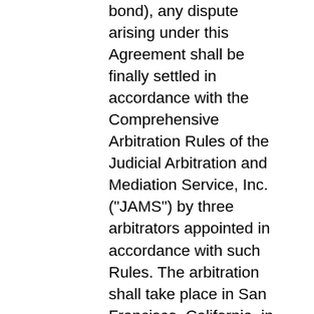bond), any dispute arising under this Agreement shall be finally settled in accordance with the Comprehensive Arbitration Rules of the Judicial Arbitration and Mediation Service, Inc. ("JAMS") by three arbitrators appointed in accordance with such Rules. The arbitration shall take place in San Francisco, California, in the English language and the arbitral decision may be enforced in any court. The prevailing party in any action or proceeding to enforce this Agreement shall be entitled to costs and attorneys' fees. If any part of this Agreement is held invalid or unenforceable, that part will be construed to reflect the parties' original intent, and the remaining portions will remain in full force and effect. A waiver by either party of any term or condition of this Agreement or any breach thereof, in any one instance, will not waive